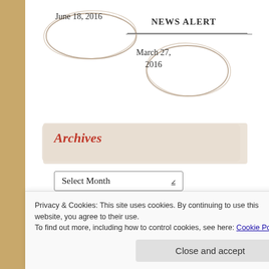June 18, 2016
NEWS ALERT
March 27, 2016
Archives
[Figure (screenshot): A dropdown select box labeled 'Select Month' with a down arrow]
Categories
[Figure (screenshot): A dropdown select box labeled 'Select Category' with a down arrow]
Privacy & Cookies: This site uses cookies. By continuing to use this website, you agree to their use.
To find out more, including how to control cookies, see here: Cookie Policy
Close and accept